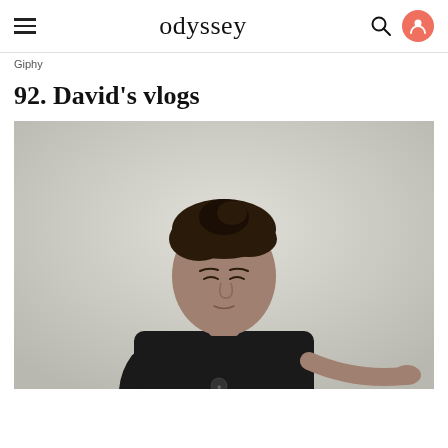odyssey
Giphy
92. David's vlogs
[Figure (photo): A young man with dark hair wearing a black t-shirt, photographed against a light gray/beige background. He appears to be mid-gesture, with one arm extended. The image is desaturated/black and white style.]